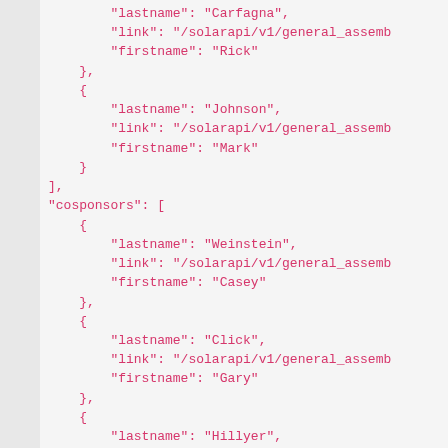JSON code snippet showing lastname/link/firstname fields for Carfagna/Rick, Johnson/Mark, cosponsors array with Weinstein/Casey, Click/Gary, and Hillyer entries